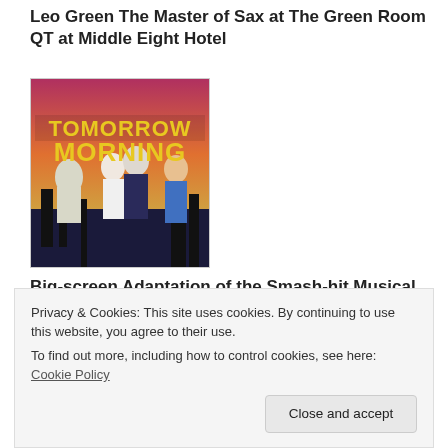Leo Green The Master of Sax at The Green Room QT at Middle Eight Hotel
[Figure (photo): Movie poster for Tomorrow Morning showing cast members with bold yellow text reading TOMORROW MORNING on a dramatic cityscape background]
Big-screen Adaptation of the Smash-hit Musical Tomorrow Morning
[Figure (photo): Partially visible image showing a ship or boats on water, mostly obscured by cookie banner]
Privacy & Cookies: This site uses cookies. By continuing to use this website, you agree to their use.
To find out more, including how to control cookies, see here: Cookie Policy
Close and accept